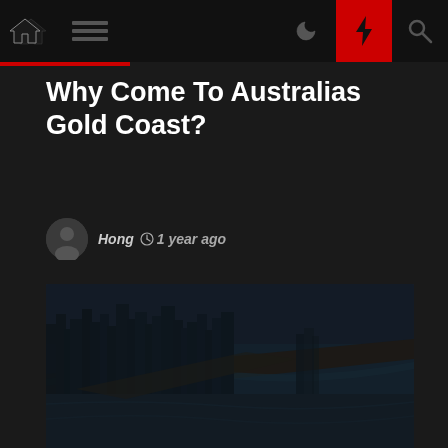Navigation bar with home, menu, dark mode, lightning, and search icons
Why Come To Australias Gold Coast?
Hong  ⊙ 1 year ago
[Figure (photo): Aerial view of Gold Coast, Australia showing city skyline with high-rise buildings along a sandy beach and ocean coastline]